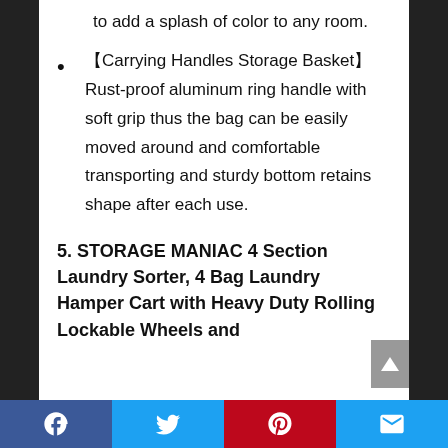to add a splash of color to any room.
【Carrying Handles Storage Basket】Rust-proof aluminum ring handle with soft grip thus the bag can be easily moved around and comfortable transporting and sturdy bottom retains shape after each use.
5. STORAGE MANIAC 4 Section Laundry Sorter, 4 Bag Laundry Hamper Cart with Heavy Duty Rolling Lockable Wheels and